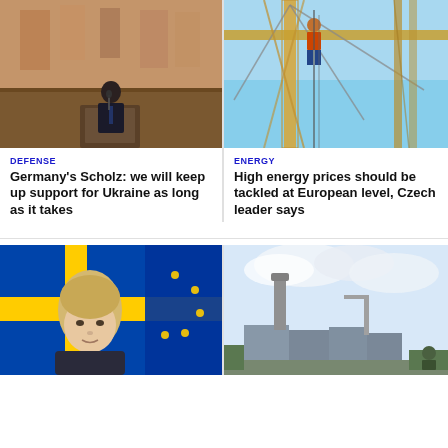[Figure (photo): German Chancellor Scholz speaking at podium in front of a large mural/fresco backdrop]
[Figure (photo): Worker on construction crane scaffolding against blue sky, energy infrastructure]
DEFENSE
Germany's Scholz: we will keep up support for Ukraine as long as it takes
ENERGY
High energy prices should be tackled at European level, Czech leader says
[Figure (photo): Swedish Prime Minister Andersson in front of Swedish and EU flags]
[Figure (photo): Zaporizhzhia nuclear power plant with industrial structures and cloudy sky]